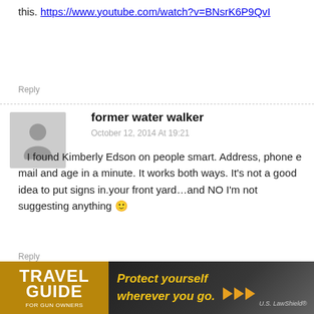this. https://www.youtube.com/watch?v=BNsrK6P9QvI
Reply
former water walker
October 12, 2014 At 19:21
I found Kimberly Edson on people smart. Address, phone e mail and age in a minute. It works both ways. It's not a good idea to put signs in.your front yard…and NO I'm not suggesting anything 🙂
Reply
Dirk Diggler
October 12, 2014 At 19:39
[Figure (photo): Travel Guide for Gun Owners advertisement banner with tagline 'Protect yourself wherever you go.' and US LawShield branding]